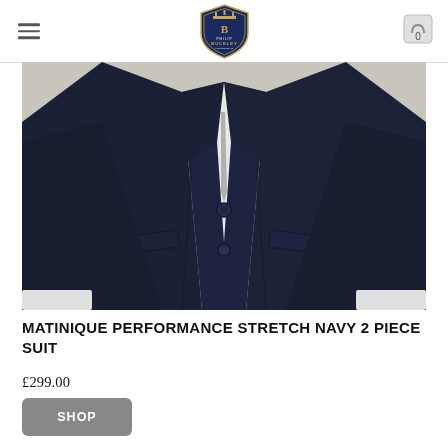Philip Buckley menswear logo with hamburger menu and cart icon
[Figure (photo): Close-up photo of a man wearing a navy two-piece suit with white shirt and tie, showing the jacket torso with buttons and lapels against a grey background]
MATINIQUE PERFORMANCE STRETCH NAVY 2 PIECE SUIT
£299.00
SHOP